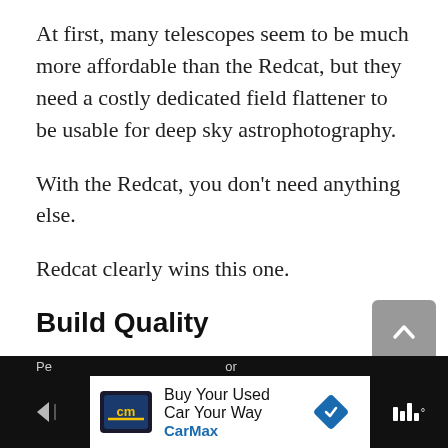At first, many telescopes seem to be much more affordable than the Redcat, but they need a costly dedicated field flattener to be usable for deep sky astrophotography.
With the Redcat, you don't need anything else.
Redcat clearly wins this one.
Build Quality
Both scopes are very well made, with the body in aluminum and smooth focuser.
Pe   or